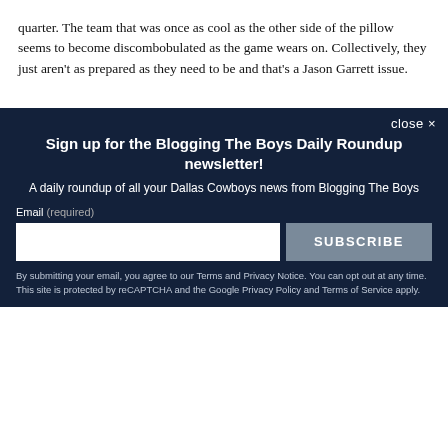quarter. The team that was once as cool as the other side of the pillow seems to become discombobulated as the game wears on. Collectively, they just aren't as prepared as they need to be and that's a Jason Garrett issue.
Sign up for the Blogging The Boys Daily Roundup newsletter!
A daily roundup of all your Dallas Cowboys news from Blogging The Boys
Email (required)
SUBSCRIBE
By submitting your email, you agree to our Terms and Privacy Notice. You can opt out at any time. This site is protected by reCAPTCHA and the Google Privacy Policy and Terms of Service apply.